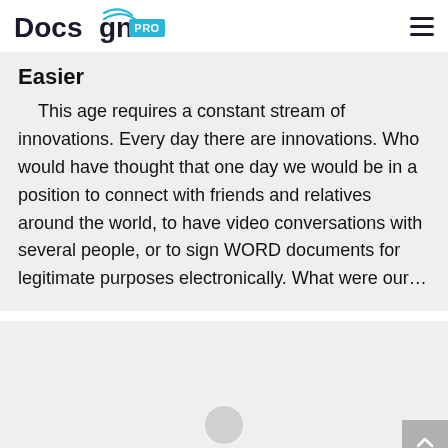Docs gn PRO
Easier
This age requires a constant stream of innovations. Every day there are innovations. Who would have thought that one day we would be in a position to connect with friends and relatives around the world, to have video conversations with several people, or to sign WORD documents for legitimate purposes electronically. What were our…
[Figure (other): Gray placeholder card with a circular button element and a scroll-to-top arrow button in the bottom right corner]